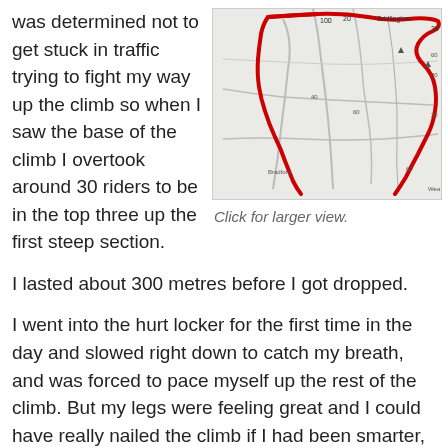was determined not to get stuck in traffic trying to fight my way up the climb so when I saw the base of the climb I overtook around 30 riders to be in the top three up the first steep section.
[Figure (map): A road map showing a cycling route marked in red, passing through Bradford and surrounding areas with distance markers.]
Click for larger view.
I lasted about 300 metres before I got dropped.
I went into the hurt locker for the first time in the day and slowed right down to catch my breath, and was forced to pace myself up the rest of the climb. But my legs were feeling great and I could have really nailed the climb if I had been smarter, but I still managed to end up being